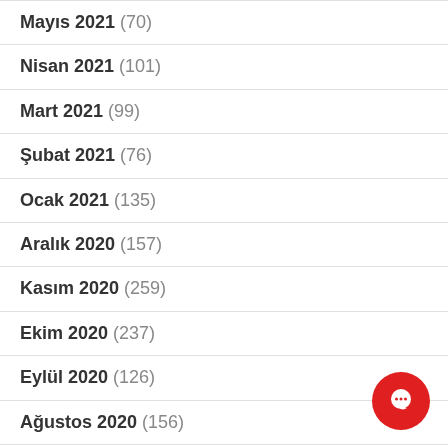Mayıs 2021 (70)
Nisan 2021 (101)
Mart 2021 (99)
Şubat 2021 (76)
Ocak 2021 (135)
Aralık 2020 (157)
Kasım 2020 (259)
Ekim 2020 (237)
Eylül 2020 (126)
Ağustos 2020 (156)
Temmuz 2020 (116)
Haziran 2020 (117)